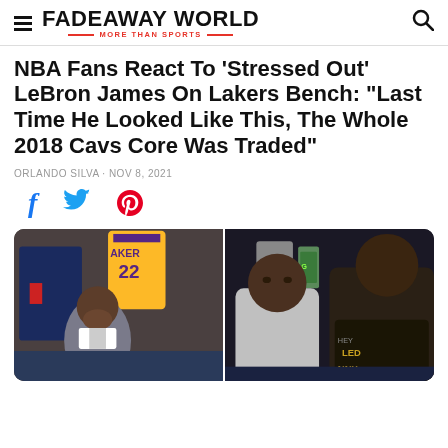FADEAWAY WORLD — MORE THAN SPORTS
NBA Fans React To 'Stressed Out' LeBron James On Lakers Bench: "Last Time He Looked Like This, The Whole 2018 Cavs Core Was Traded"
ORLANDO SILVA · NOV 8, 2021
[Figure (photo): Two-panel photo: left panel shows LeBron James in a grey suit with head bowed and hand over face on the Lakers bench; right panel shows LeBron James and Draymond Green seated on the bench looking stressed, with Gatorade cups visible in the background.]